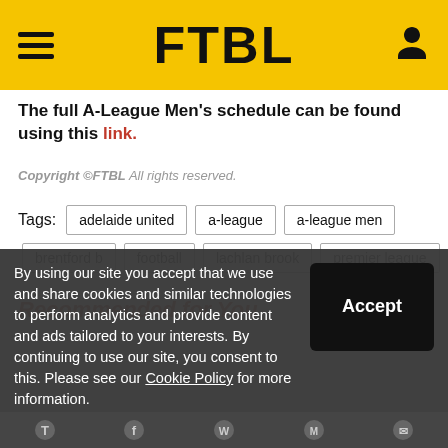FTBL
The full A-League Men's schedule can be found using this link.
Copyright ©FTBL All rights reserved.
Tags: adelaide united  a-league  a-league men  brentford b  football  lachlan brook  premier league
Recommended for You
By using our site you accept that we use and share cookies and similar technologies to perform analytics and provide content and ads tailored to your interests. By continuing to use our site, you consent to this. Please see our Cookie Policy for more information.